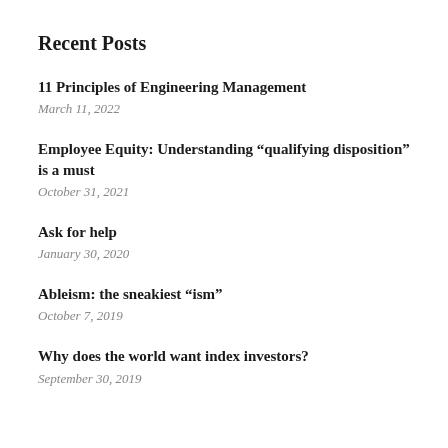Recent Posts
11 Principles of Engineering Management
March 11, 2022
Employee Equity: Understanding “qualifying disposition” is a must
October 31, 2021
Ask for help
January 30, 2020
Ableism: the sneakiest “ism”
October 7, 2019
Why does the world want index investors?
September 30, 2019